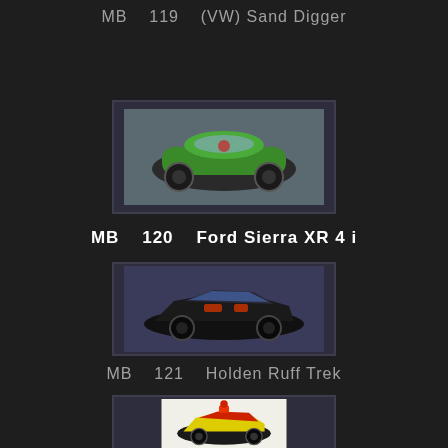MB   119   (VW) Sand Digger
[Figure (photo): Photo of MB 119 (VW) Sand Digger toy car - green VW buggy style vehicle]
MB   120   Ford Sierra XR 4 i
[Figure (photo): Photo of MB 120 Ford Sierra XR 4 i toy car - black sports car]
MB   121   Holden Ruff Trek
[Figure (photo): Photo of MB 121 Holden Ruff Trek toy car - yellow/red car with accessories]
MB   122   IMSA Ford Mustang
[Figure (photo): Photo of MB 122 IMSA Ford Mustang toy car - partially visible at bottom]